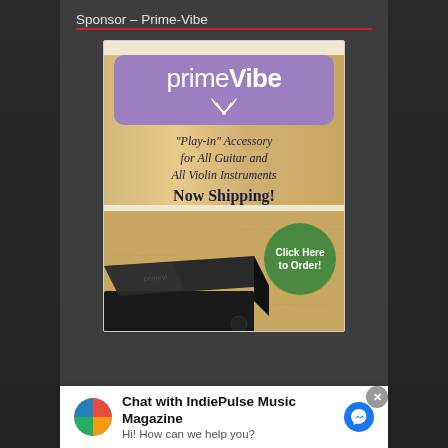Sponsor – Prime-Vibe
[Figure (illustration): Prime-Vibe advertisement showing the primeVibe logo on a purple rounded rectangle banner with a wifi/signal icon below it, against a wood-grain background. Text reads: "Play-in" Accessory for All Guitar and All Violin Instruments. Now Shipping! A dark product box is shown with a green circular button reading 'Click Here to Order!']
Chat with IndiePulse Music Magazine
Hi! How can we help you?